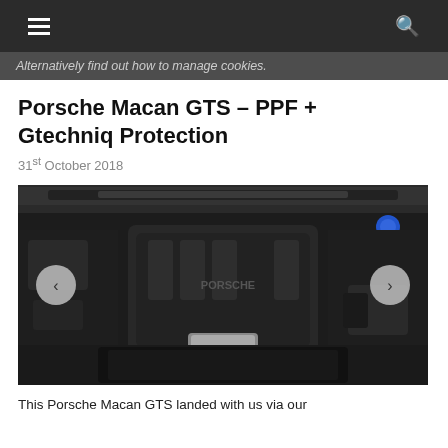≡   🔍
Alternatively find out how to manage cookies.
Porsche Macan GTS – PPF + Gtechniq Protection
31st October 2018
[Figure (photo): Porsche Macan GTS engine bay view showing the PORSCHE-branded engine cover, with coolant reservoir and various hoses visible. Navigation arrows on left and right sides of image.]
This Porsche Macan GTS landed with us via our